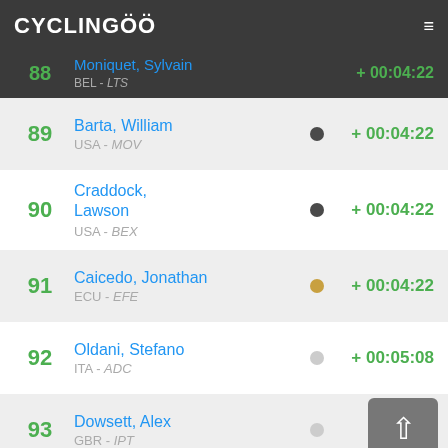CYCLINGOO
88 Moniquet, Sylvain BEL - LTS + 00:04:22
89 Barta, William USA - MOV + 00:04:22
90 Craddock, Lawson USA - BEX + 00:04:22
91 Caicedo, Jonathan ECU - EFE + 00:04:22
92 Oldani, Stefano ITA - ADC + 00:05:08
93 Dowsett, Alex GBR - IPT + 00:...